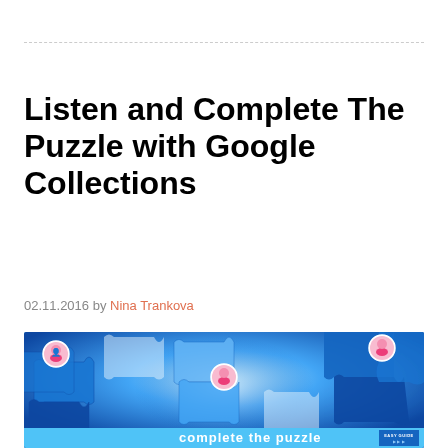Listen and Complete The Puzzle with Google Collections
02.11.2016 by Nina Trankova
[Figure (illustration): Blue jigsaw puzzle pieces scattered on a surface with circular avatar photos of a woman overlaid at three positions. Bottom banner reads 'complete the puzzle' with an 'Easy Guide' badge at the bottom right.]